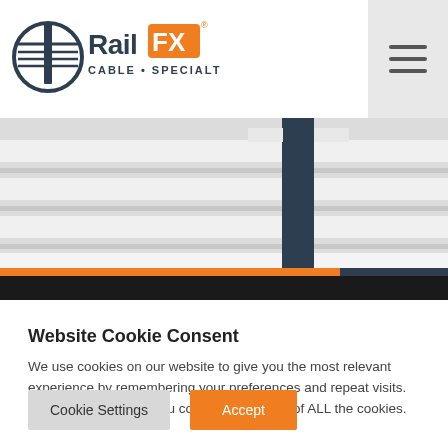[Figure (logo): RailFX Cable + Specialty logo with circular cable railing icon, dark navy text and orange FX badge]
[Figure (photo): Close-up product photo of a horizontal cable railing system with white composite rail sections and dark navy aluminum post, with orange accent stripe at bottom]
Website Cookie Consent
We use cookies on our website to give you the most relevant experience by remembering your preferences and repeat visits. By clicking “Accept”, you consent to the use of ALL the cookies.
Cookie Settings | Accept